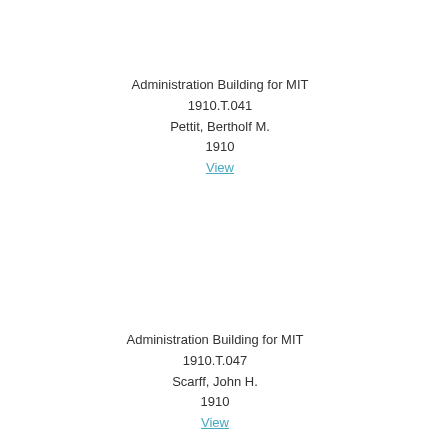Administration Building for MIT
1910.T.041
Pettit, Bertholf M.
1910
View
Administration Building for MIT
1910.T.047
Scarff, John H.
1910
View